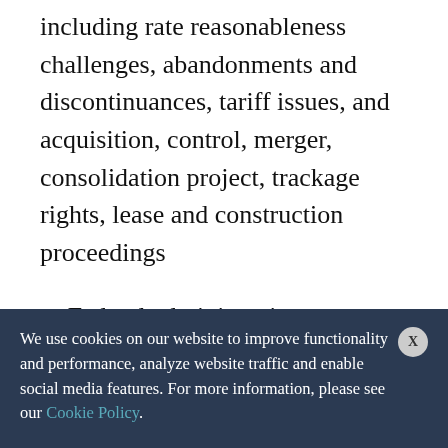including rate reasonableness challenges, abandonments and discontinuances, tariff issues, and acquisition, control, merger, consolidation project, trackage rights, lease and construction proceedings
Federal administrative enforcement proceedings
U.S. Department of Transportation (DOT) appearances, including economic regulatory...
We use cookies on our website to improve functionality and performance, analyze website traffic and enable social media features. For more information, please see our Cookie Policy.